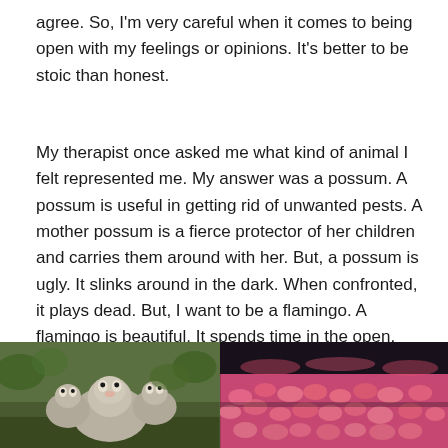agree.  So, I'm very careful when it comes to being open with my feelings or opinions.  It's better to be stoic than honest.
My therapist once asked me what kind of animal I felt represented me.  My answer was a possum.  A possum is useful in getting rid of unwanted pests. A mother possum is a fierce protector of her children and carries them around with her.  But, a possum is ugly.  It slinks around in the dark.  When confronted, it plays dead.  But, I want to be a flamingo.  A flamingo is beautiful.  It spends time in the open, eating and just being beautiful. Flamingos are members of a flock, and raise their babies together. Everyone loves the flamingo.
[Figure (photo): Photo of possums, mother with babies, outdoors on green background]
[Figure (photo): Photo of a large flock of flamingos, pink birds densely packed together]